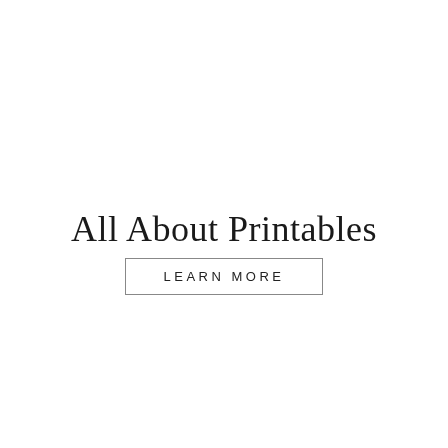All About Printables
LEARN MORE
[Figure (photo): A framed 'welcome! enjoy the wifi' printable sign displayed against a light grey background, shown inside a gold frame with a white mat. A dark rounded-square shopping bag icon with a heart is visible in the lower right corner.]